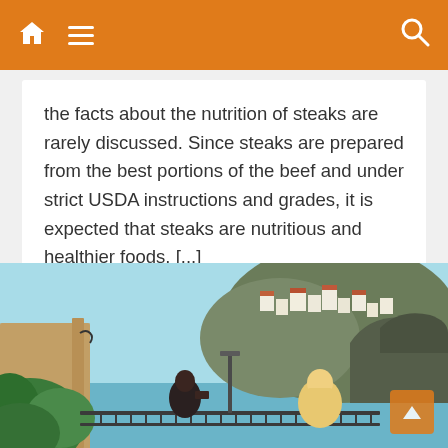Navigation bar with home, menu, and search icons
the facts about the nutrition of steaks are rarely discussed. Since steaks are prepared from the best portions of the beef and under strict USDA instructions and grades, it is expected that steaks are nutritious and healthier foods. [...]
⊙ Continue Reading
[Figure (photo): Outdoor scene with two people on a terrace or balcony overlooking a hillside Mediterranean coastal town with white buildings, greenery in the foreground, blue sky and sea in the background.]